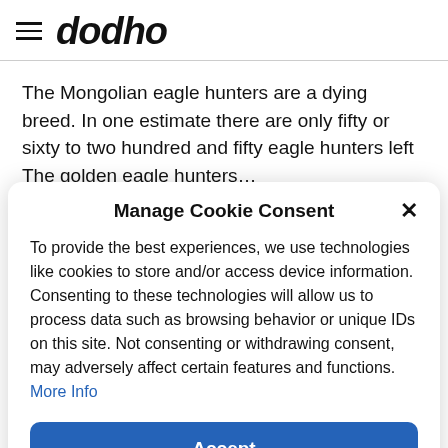dodho
The Mongolian eagle hunters are a dying breed. In one estimate there are only fifty or sixty to two hundred and fifty eagle hunters left The golden eagle hunters…
Manage Cookie Consent
To provide the best experiences, we use technologies like cookies to store and/or access device information. Consenting to these technologies will allow us to process data such as browsing behavior or unique IDs on this site. Not consenting or withdrawing consent, may adversely affect certain features and functions. More Info
Accept